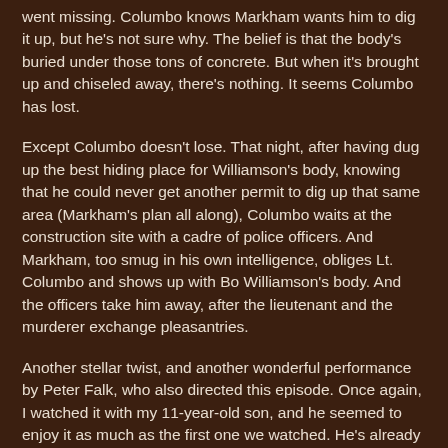went missing. Columbo knows Markham wants him to dig it up, but he's not sure why. The belief is that the body's buried under those tons of concrete. But when it's brought up and chiseled away, there's nothing. It seems Columbo has lost.
Except Columbo doesn't lose. That night, after having dug up the best hiding place for Williamson's body, knowing that he could never get another permit to dig up that same area (Markham's plan all along), Columbo waits at the construction site with a cadre of police officers. And Markham, too smug in his own intelligence, obliges Lt. Columbo and shows up with Bo Williamson's body. And the officers take him away, after the lieutenant and the murderer exchange pleasantries.
Another stellar twist, and another wonderful performance by Peter Falk, who also directed this episode. Once again, I watched it with my 11-year-old son, and he seemed to enjoy it as much as the first one we watched. He's already caught onto how Columbo works, and I think he enjoys the game of feint-and-parry Columbo and the murderer of the week go through. I know I do.